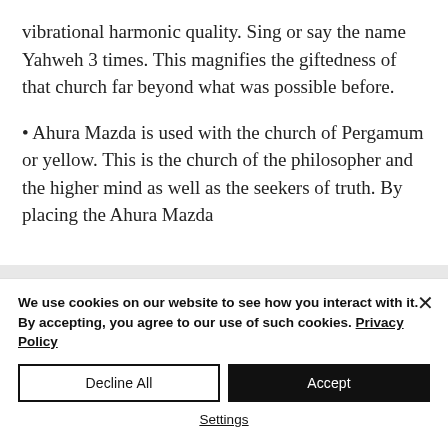vibrational harmonic quality. Sing or say the name Yahweh 3 times. This magnifies the giftedness of that church far beyond what was possible before.
• Ahura Mazda is used with the church of Pergamum or yellow. This is the church of the philosopher and the higher mind as well as the seekers of truth. By placing the Ahura Mazda
We use cookies on our website to see how you interact with it. By accepting, you agree to our use of such cookies. Privacy Policy
Decline All
Accept
Settings